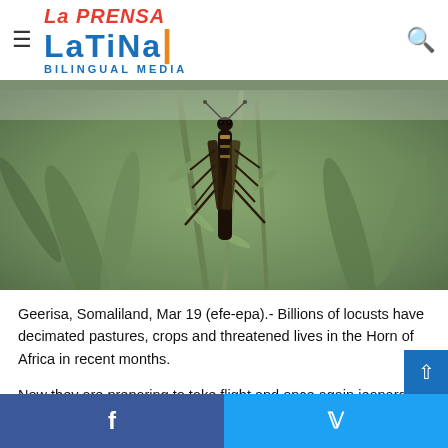LA PRENSA LATINA BILINGUAL MEDIA
[Figure (photo): Close-up macro photograph of a locust perched on green plant stems/branches, with a blurred natural background]
Geerisa, Somaliland, Mar 19 (efe-epa).- Billions of locusts have decimated pastures, crops and threatened lives in the Horn of Africa in recent months.
Now they are preparing to take flight and once again jeopardise the livelihood of a region already battered by the